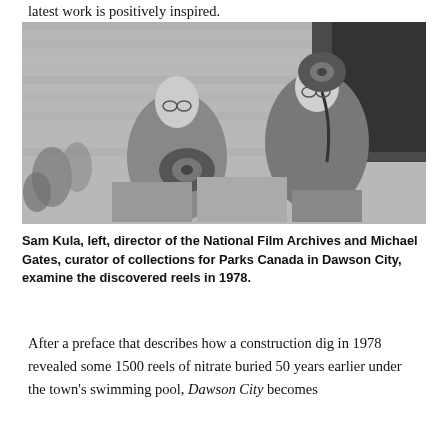latest work is positively inspired.
[Figure (photo): Black and white photograph of two men examining film reels outdoors in front of a wooden building. Sam Kula is on the left and Michael Gates is on the right, holding and inspecting old nitrate film reels.]
Sam Kula, left, director of the National Film Archives and Michael Gates, curator of collections for Parks Canada in Dawson City, examine the discovered reels in 1978.
After a preface that describes how a construction dig in 1978 revealed some 1500 reels of nitrate buried 50 years earlier under the town's swimming pool, Dawson City becomes